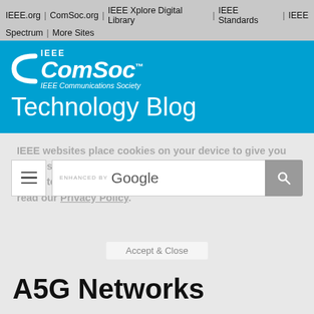IEEE.org | ComSoc.org | IEEE Xplore Digital Library | IEEE Standards | IEEE Spectrum | More Sites
[Figure (logo): IEEE ComSoc logo with IEEE Communications Society text and Technology Blog heading on blue background]
IEEE websites place cookies on your device to give you the best user experience. By using our websites, you agree to the placement of these cookies. To learn more, read our Privacy Policy.
[Figure (screenshot): Search bar with hamburger menu, Enhanced by Google search input, and search button]
Accept & Close
A5G Networks